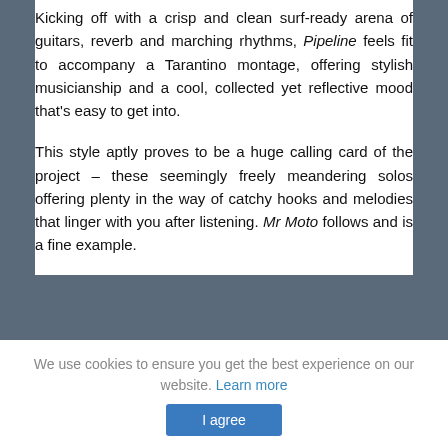Kicking off with a crisp and clean surf-ready arena of guitars, reverb and marching rhythms, Pipeline feels fit to accompany a Tarantino montage, offering stylish musicianship and a cool, collected yet reflective mood that's easy to get into.
This style aptly proves to be a huge calling card of the project – these seemingly freely meandering solos offering plenty in the way of catchy hooks and melodies that linger with you after listening. Mr Moto follows and is a fine example.
We use cookies to ensure you get the best experience on our website. Learn more
I agree